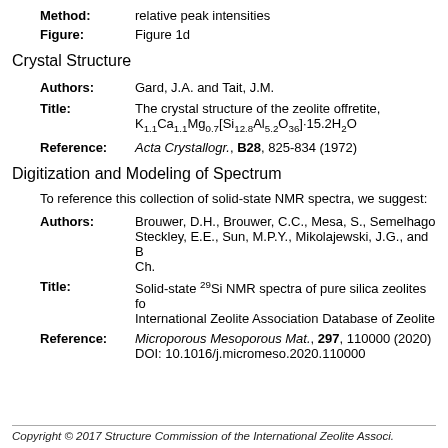Method: relative peak intensities
Figure: Figure 1d
Crystal Structure
Authors: Gard, J.A. and Tait, J.M.
Title: The crystal structure of the zeolite offretite, K1.1Ca1.1Mg0.7[Si12.8Al5.2O36]·15.2H2O
Reference: Acta Crystallogr., B28, 825-834 (1972)
Digitization and Modeling of Spectrum
To reference this collection of solid-state NMR spectra, we suggest:
Authors: Brouwer, D.H., Brouwer, C.C., Mesa, S., Semelhago, Steckley, E.E., Sun, M.P.Y., Mikolajewski, J.G., and B Ch.
Title: Solid-state 29Si NMR spectra of pure silica zeolites for International Zeolite Association Database of Zeolite
Reference: Microporous Mesoporous Mat., 297, 110000 (2020) DOI: 10.1016/j.micromeso.2020.110000
Copyright © 2017 Structure Commission of the International Zeolite Associ.